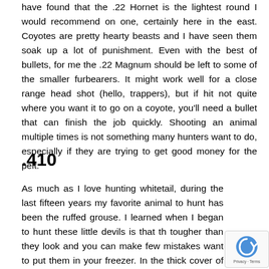have found that the .22 Hornet is the lightest round I would recommend on one, certainly here in the east. Coyotes are pretty hearty beasts and I have seen them soak up a lot of punishment. Even with the best of bullets, for me the .22 Magnum should be left to some of the smaller furbearers. It might work well for a close range head shot (hello, trappers), but if hit not quite where you want it to go on a coyote, you'll need a bullet that can finish the job quickly. Shooting an animal multiple times is not something many hunters want to do, especially if they are trying to get good money for the pelt.
.410
As much as I love hunting whitetail, during the last fifteen years my favorite animal to hunt has been the ruffed grouse. I learned when I began to hunt these little devils is that they're tougher than they look and you can make few mistakes if you want to put them in your freezer. In the thick cover of brush...